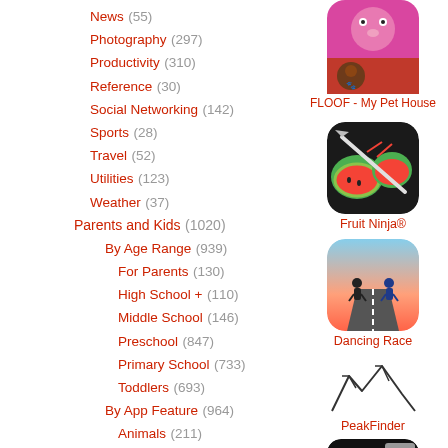News (55)
Photography (297)
Productivity (310)
Reference (30)
Social Networking (142)
Sports (28)
Travel (52)
Utilities (123)
Weather (37)
Parents and Kids (1020)
By Age Range (939)
For Parents (130)
High School + (110)
Middle School (146)
Preschool (847)
Primary School (733)
Toddlers (693)
By App Feature (964)
Animals (211)
Art (377)
Counting (66)
Creativity (432)
Geography (29)
Health (59)
[Figure (screenshot): FLOOF - My Pet House app icon with cartoon pet]
FLOOF - My Pet House
[Figure (screenshot): Fruit Ninja app icon showing sliced fruit]
Fruit Ninja®
[Figure (screenshot): Dancing Race app icon with characters on road]
Dancing Race
[Figure (illustration): PeakFinder app icon with mountain outline sketch]
PeakFinder
[Figure (screenshot): Pro app icon with dark background and UI elements]